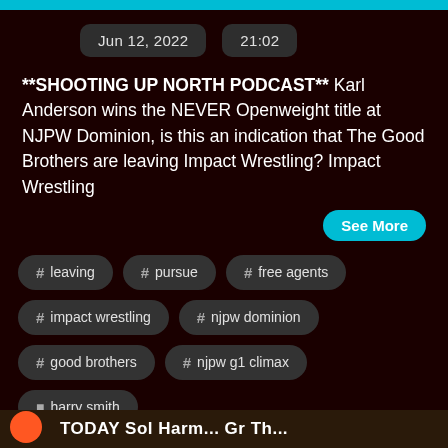Jun 12, 2022   21:02
**SHOOTING UP NORTH PODCAST** Karl Anderson wins the NEVER Openweight title at NJPW Dominion, is this an indication that The Good Brothers are leaving Impact Wrestling? Impact Wrestling
See More
# leaving
# pursue
# free agents
# impact wrestling
# njpw dominion
# good brothers
# njpw g1 climax
harry smith
TODAY Sol Harm... Gr Th...